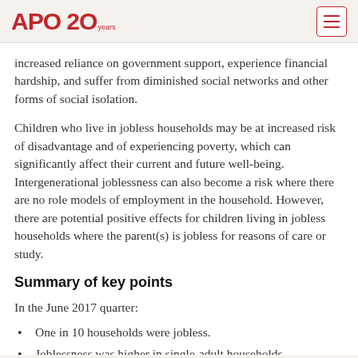APO 20 years
increased reliance on government support, experience financial hardship, and suffer from diminished social networks and other forms of social isolation.
Children who live in jobless households may be at increased risk of disadvantage and of experiencing poverty, which can significantly affect their current and future well-being. Intergenerational joblessness can also become a risk where there are no role models of employment in the household. However, there are potential positive effects for children living in jobless households where the parent(s) is jobless for reasons of care or study.
Summary of key points
In the June 2017 quarter:
One in 10 households were jobless.
Joblessness was higher in single-adult households.